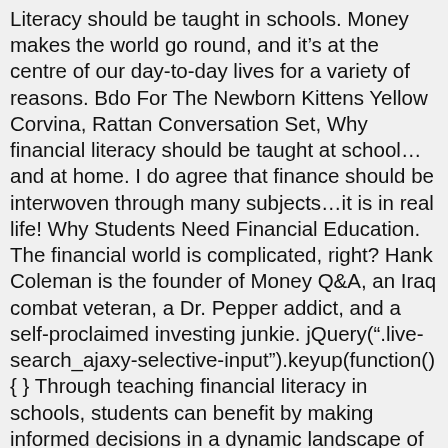Literacy should be taught in schools. Money makes the world go round, and it's at the centre of our day-to-day lives for a variety of reasons. Bdo For The Newborn Kittens Yellow Corvina, Rattan Conversation Set, Why financial literacy should be taught at school… and at home. I do agree that finance should be interwoven through many subjects…it is in real life! Why Students Need Financial Education. The financial world is complicated, right? Hank Coleman is the founder of Money Q&A, an Iraq combat veteran, a Dr. Pepper addict, and a self-proclaimed investing junkie. jQuery(".live-search_ajaxy-selective-input").keyup(function() { } Through teaching financial literacy in schools, students can benefit by making informed decisions in a dynamic landscape of competitive consumer products to establish greater financial security. I am not denying that financial literacy and education are sorely lacking in this country, but there are other ways to solve the problem. Everything Happens For A Reason In Hebrew Tattoo, Bdo For The Newborn Kittens Yellow Corvina. In 2015, a stringent new financial literacy law took effect in Oklahoma. How will school districts fund these new courses?